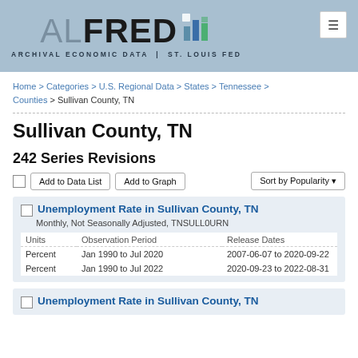[Figure (logo): ALFRED Archival Economic Data | St. Louis Fed logo with bar chart icon]
Home > Categories > U.S. Regional Data > States > Tennessee > Counties > Sullivan County, TN
Sullivan County, TN
242 Series Revisions
| Units | Observation Period | Release Dates |
| --- | --- | --- |
| Percent | Jan 1990 to Jul 2020 | 2007-06-07 to 2020-09-22 |
| Percent | Jan 1990 to Jul 2022 | 2020-09-23 to 2022-08-31 |
Unemployment Rate in Sullivan County, TN — Monthly, Not Seasonally Adjusted, TNSULL0URN (second entry)